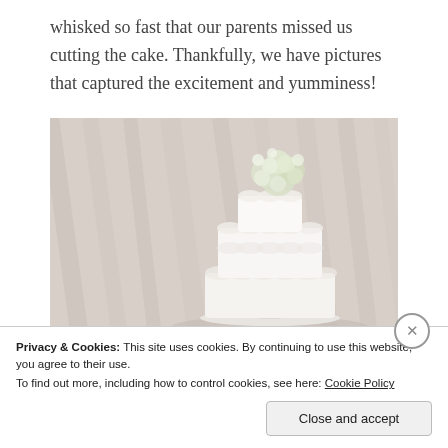whisked so fast that our parents missed us cutting the cake. Thankfully, we have pictures that captured the excitement and yumminess!
[Figure (photo): Wedding cake with white floral topper (white roses and hydrangeas) on a white tiered cake with ruffled frosting, on a cake stand, against a draped light beige background.]
Privacy & Cookies: This site uses cookies. By continuing to use this website, you agree to their use.
To find out more, including how to control cookies, see here: Cookie Policy
Close and accept